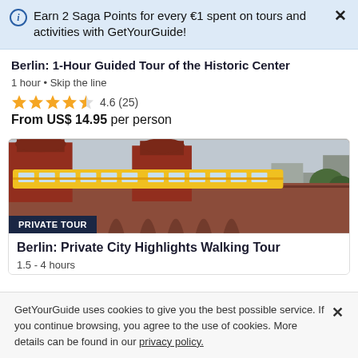Earn 2 Saga Points for every €1 spent on tours and activities with GetYourGuide!
Berlin: 1-Hour Guided Tour of the Historic Center
1 hour • Skip the line
4.6 (25)
From US$ 14.95 per person
[Figure (photo): Photo of Berlin Oberbaum Bridge with yellow U-Bahn train passing over red brick Gothic towers, with 'PRIVATE TOUR' badge overlay]
Berlin: Private City Highlights Walking Tour
1.5 - 4 hours
GetYourGuide uses cookies to give you the best possible service. If you continue browsing, you agree to the use of cookies. More details can be found in our privacy policy.